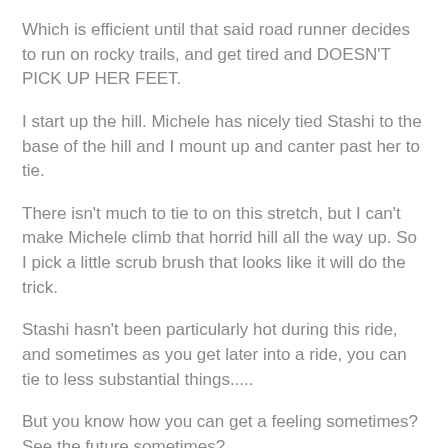Which is efficient until that said road runner decides to run on rocky trails, and get tired and DOESN'T PICK UP HER FEET.
I start up the hill. Michele has nicely tied Stashi to the base of the hill and I mount up and canter past her to tie.
There isn't much to tie to on this stretch, but I can't make Michele climb that horrid hill all the way up.  So I pick a little scrub brush that looks like it will do the trick.
Stashi hasn't been particularly hot during this ride, and sometimes as you get later into a ride, you can tie to less substantial things.....
But you know how you can get a feeling sometimes?  See the future sometimes?
Like....I kept turning around everytime I heard a horse to see if it was Stashi+Michele or just Stashi.